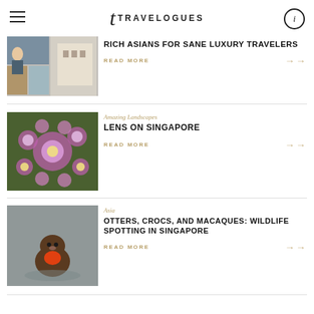TRAVELOGUES
[Figure (photo): Collage of travel photos including couple and colonial building]
RICH ASIANS FOR SANE LUXURY TRAVELERS
READ MORE
[Figure (photo): Aerial view of Singapore Gardens with pink floral patterns]
Amazing Landscapes
LENS ON SINGAPORE
READ MORE
[Figure (photo): Otter holding an orange object in water]
Asia
OTTERS, CROCS, AND MACAQUES: WILDLIFE SPOTTING IN SINGAPORE
READ MORE